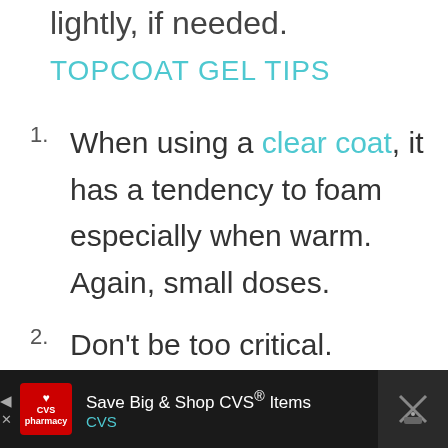lightly, if needed.
TOPCOAT GEL TIPS
1. When using a clear coat, it has a tendency to foam especially when warm. Again, small doses.
2. Don't be too critical. Honestly, people don't look at
Save Big & Shop CVS® Items CVS